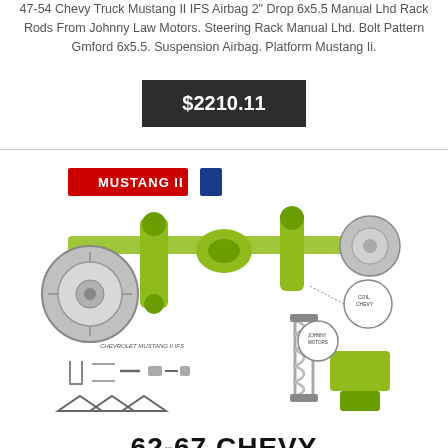47-54 Chevy Truck Mustang II IFS Airbag 2" Drop 6x5.5 Manual Lhd Rack Rods From Johnny Law Motors. Steering Rack Manual Lhd. Bolt Pattern Gmford 6x5.5. Suspension Airbag. Platform Mustang Ii.
$2210.11
[Figure (photo): Product photo of a Mustang II IFS front suspension kit with green-painted components, coilovers, brake rotor, and hardware for 62-67 Chevy. Includes Mustang II badge logo in red and blue in upper left corner.]
62-67 CHEVY